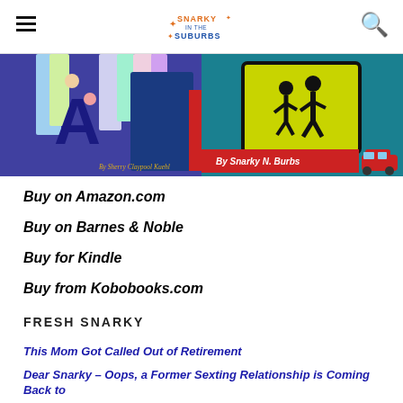Snarky in the Suburbs
[Figure (photo): Two book covers side by side: left cover is purple with colorful bookmark-like flags and text 'By Sherry Claypool Kuehl'; right cover is teal/blue with a pedestrian crossing sign (yellow) showing adult figures, a red car, and text 'By Snarky N. Burbs' on a red banner.]
Buy on Amazon.com
Buy on Barnes & Noble
Buy for Kindle
Buy from Kobobooks.com
FRESH SNARKY
This Mom Got Called Out of Retirement
Dear Snarky – Oops, a Former Sexting Relationship is Coming Back to